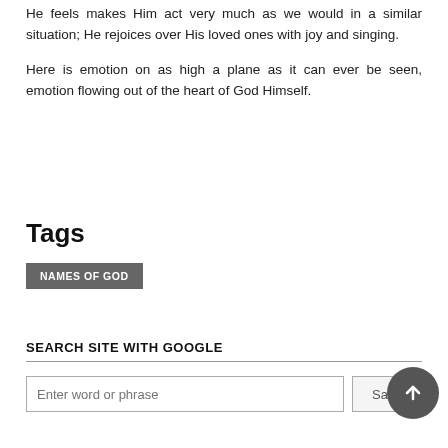He feels makes Him act very much as we would in a similar situation; He rejoices over His loved ones with joy and singing.
Here is emotion on as high a plane as it can ever be seen, emotion flowing out of the heart of God Himself.
Tags
NAMES OF GOD
SEARCH SITE WITH GOOGLE
Enter word or phrase